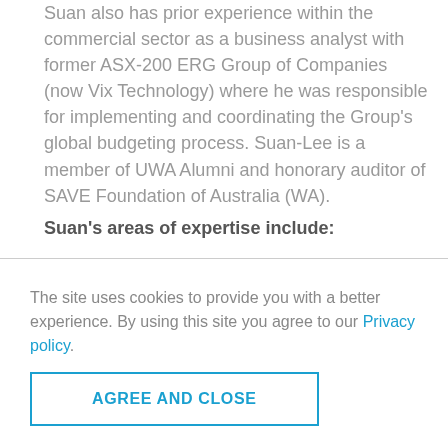Suan also has prior experience within the commercial sector as a business analyst with former ASX-200 ERG Group of Companies (now Vix Technology) where he was responsible for implementing and coordinating the Group's global budgeting process. Suan-Lee is a member of UWA Alumni and honorary auditor of SAVE Foundation of Australia (WA).
Suan's areas of expertise include:
The site uses cookies to provide you with a better experience. By using this site you agree to our Privacy policy.
AGREE AND CLOSE